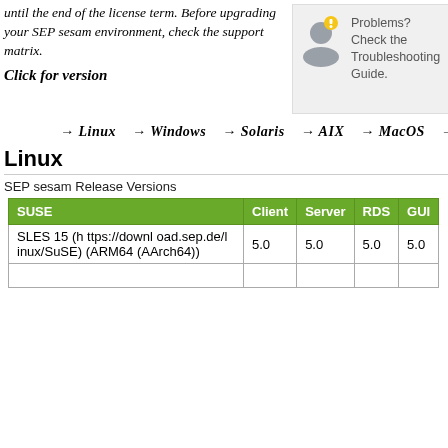until the end of the license term. Before upgrading your SEP sesam environment, check the support matrix.
Click for version
[Figure (illustration): Person with exclamation mark icon next to text 'Problems? Check the Troubleshooting Guide.' on a grey background.]
→ Linux  → Windows  → Solaris  → AIX  → MacOS  → BSD
Linux
SEP sesam Release Versions
| SUSE | Client | Server | RDS | GUI |
| --- | --- | --- | --- | --- |
| SLES 15 (https://download.sep.de/linux/SuSE) (ARM64 (AArch64)) | 5.0 | 5.0 | 5.0 | 5.0 |